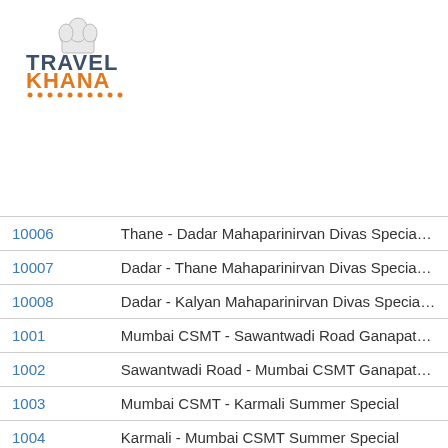[Figure (logo): Travel Khana logo with chef hat icon, TRAVEL in dark blue/slate, KHANA in orange, underlined with orange dots]
| ID | Route |
| --- | --- |
| 10006 | Thane - Dadar Mahaparinirvan Divas Specia… |
| 10007 | Dadar - Thane Mahaparinirvan Divas Specia… |
| 10008 | Dadar - Kalyan Mahaparinirvan Divas Specia… |
| 1001 | Mumbai CSMT - Sawantwadi Road Ganapat… |
| 1002 | Sawantwadi Road - Mumbai CSMT Ganapat… |
| 1003 | Mumbai CSMT - Karmali Summer Special |
| 1004 | Karmali - Mumbai CSMT Summer Special |
| 1005 | Dadar Central - Puducherry Chalukya Specia… |
| 1006 | Puducherry - Dadar Central Chalukya Specia… |
| 1007 | Mumbai CSMT - Sawantwadi Road (Bi-Weel… |